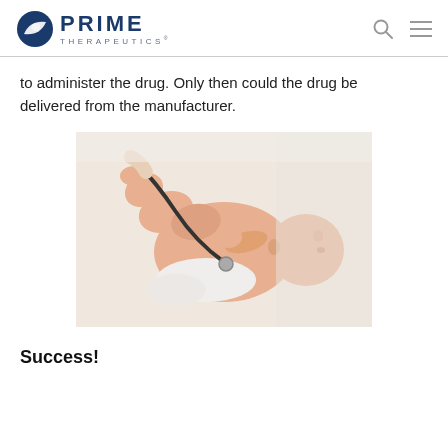PRIME THERAPEUTICS
to administer the drug. Only then could the drug be delivered from the manufacturer.
[Figure (photo): A baby lying on its back being examined with a stethoscope by a medical professional]
Success!